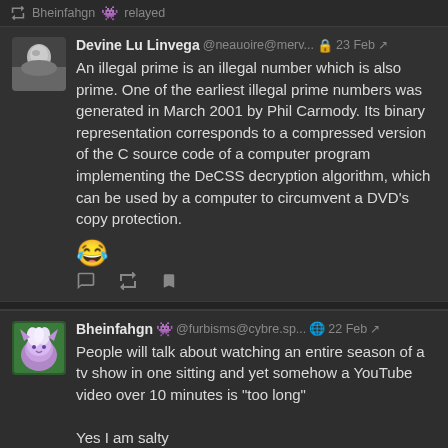Bheinfahgn 👾 relayed
Devine Lu Linvega @neauoire@merv... 🔒 23 Feb ↗
An illegal prime is an illegal number which is also prime. One of the earliest illegal prime numbers was generated in March 2001 by Phil Carmody. Its binary representation corresponds to a compressed version of the C source code of a computer program implementing the DeCSS decryption algorithm, which can be used by a computer to circumvent a DVD's copy protection.
😂
Bheinfahgn 👾 @furbisms@cybre.sp... 🌐 22 Feb ↗
People will talk about watching an entire season of a tv show in one sitting and yet somehow a YouTube video over 10 minutes is "too long"

Yes I am salty